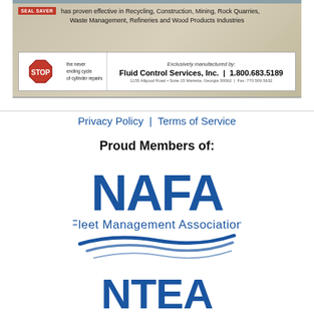[Figure (illustration): Seal Saver advertisement banner with STOP sign, industrial imagery, and Fluid Control Services contact info]
Privacy Policy | Terms of Service
Proud Members of:
[Figure (logo): NAFA Fleet Management Association logo with blue swoosh graphic]
[Figure (logo): NTEA logo (partially visible at bottom)]